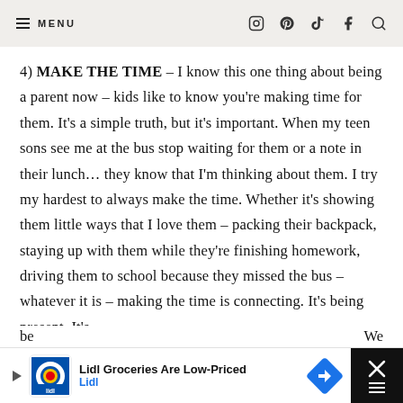≡ MENU
4) MAKE THE TIME – I know this one thing about being a parent now – kids like to know you're making time for them. It's a simple truth, but it's important. When my teen sons see me at the bus stop waiting for them or a note in their lunch… they know that I'm thinking about them. I try my hardest to always make the time. Whether it's showing them little ways that I love them – packing their backpack, staying up with them while they're finishing homework, driving them to school because they missed the bus – whatever it is – making the time is connecting. It's being present. It's
[Figure (screenshot): Advertisement banner for Lidl Groceries Are Low-Priced with Lidl logo and navigation icon]